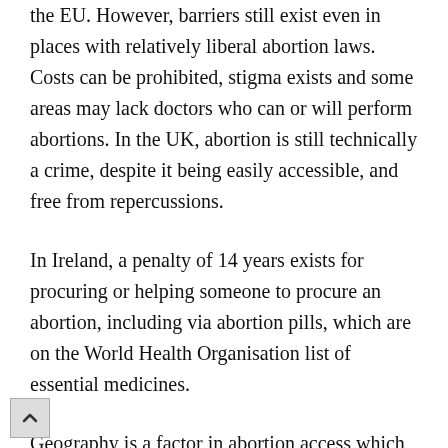the EU. However, barriers still exist even in places with relatively liberal abortion laws. Costs can be prohibited, stigma exists and some areas may lack doctors who can or will perform abortions. In the UK, abortion is still technically a crime, despite it being easily accessible, and free from repercussions.
In Ireland, a penalty of 14 years exists for procuring or helping someone to procure an abortion, including via abortion pills, which are on the World Health Organisation list of essential medicines.
Geography is a factor in abortion access which is being considered by Irish abortion rights activists.